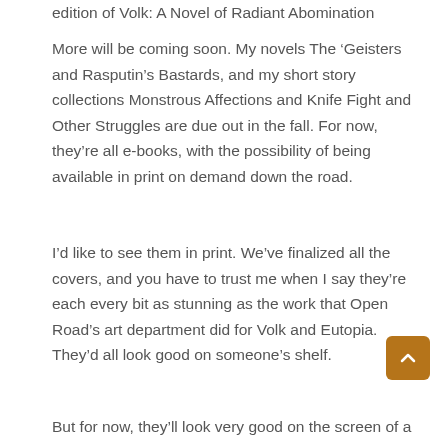edition of Volk: A Novel of Radiant Abomination
More will be coming soon. My novels The ‘Geisters and Rasputin’s Bastards, and my short story collections Monstrous Affections and Knife Fight and Other Struggles are due out in the fall. For now, they’re all e-books, with the possibility of being available in print on demand down the road.
I’d like to see them in print. We’ve finalized all the covers, and you have to trust me when I say they’re each every bit as stunning as the work that Open Road’s art department did for Volk and Eutopia. They’d all look good on someone’s shelf.
But for now, they’ll look very good on the screen of a